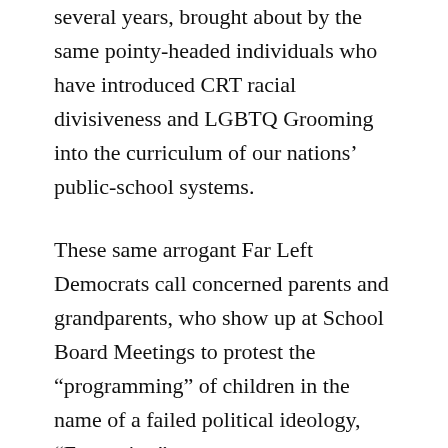several years, brought about by the same pointy-headed individuals who have introduced CRT racial divisiveness and LGBTQ Grooming into the curriculum of our nations’ public-school systems.
These same arrogant Far Left Democrats call concerned parents and grandparents, who show up at School Board Meetings to protest the “programming” of children in the name of a failed political ideology, “Extremists”.
Just like the Bolsheviks of the Russian Revolution, the Brown Shirts of the Third Reich, and the barbarous butchers of ISIS, these New Fascists want the history of the country which they want to take over erased because it threatens their brainwashing of the citizenry, including our children.